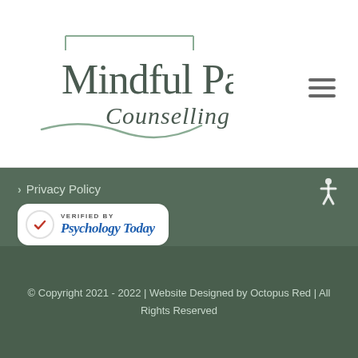[Figure (logo): Mindful Path Counselling logo with decorative path graphic and text]
Privacy Policy
[Figure (logo): Verified by Psychology Today badge with checkmark and blue text]
© Copyright 2021 - 2022 | Website Designed by Octopus Red | All Rights Reserved